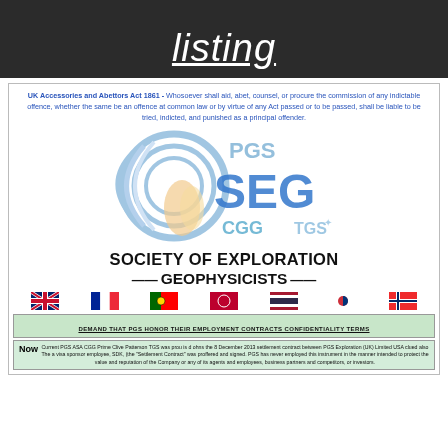listing
UK Accessories and Abettors Act 1861 - Whosoever shall aid, abet, counsel, or procure the commission of any indictable offence, whether the same be an offence at common law or by virtue of any Act passed or to be passed, shall be liable to be tried, indicted, and punished as a principal offender.
[Figure (logo): Overlapping logos of PGS, SEG, CGG, and TGS companies with circular swirl graphic]
SOCIETY OF EXPLORATION GEOPHYSICISTS
[Figure (infographic): Row of country flags: UK, France, Portugal, Thailand, South Korea, Norway]
DEMAND THAT PGS HONOR THEIR EMPLOYMENT CONTRACTS CONFIDENTIALITY TERMS
Current PGS ASA CGG Prime Clive Patterson TGS was prou is d ohns the 8 December 2013 settlement contract between PGS Exploration (UK) Limited USA clued also The a visa sponsor employee, SDK, (the "Settlement Contract" was proffered and signed. PGS has never employed this instrument in the manner intended to protect the value and reputation of the Company or any of its agents and employees, business partners and competitors, or investors.